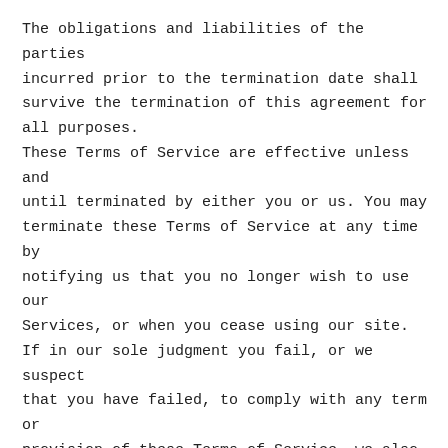The obligations and liabilities of the parties incurred prior to the termination date shall survive the termination of this agreement for all purposes. These Terms of Service are effective unless and until terminated by either you or us. You may terminate these Terms of Service at any time by notifying us that you no longer wish to use our Services, or when you cease using our site. If in our sole judgment you fail, or we suspect that you have failed, to comply with any term or provision of these Terms of Service, we also may terminate this agreement at any time without notice and you will remain liable for all amounts due up to and including the date of termination; and/or accordingly may deny you